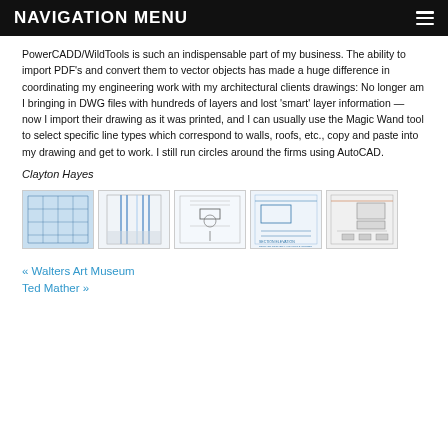NAVIGATION MENU
PowerCADD/WildTools is such an indispensable part of my business. The ability to import PDF's and convert them to vector objects has made a huge difference in coordinating my engineering work with my architectural clients drawings: No longer am I bringing in DWG files with hundreds of layers and lost 'smart' layer information — now I import their drawing as it was printed, and I can usually use the Magic Wand tool to select specific line types which correspond to walls, roofs, etc., copy and paste into my drawing and get to work. I still run circles around the firms using AutoCAD.
Clayton Hayes
[Figure (engineering-diagram): Five thumbnail images of engineering/architectural CAD drawings: blueprint floor plan, wall section detail, structural detail, roof beam connection detail, and another structural detail]
« Walters Art Museum
Ted Mather »